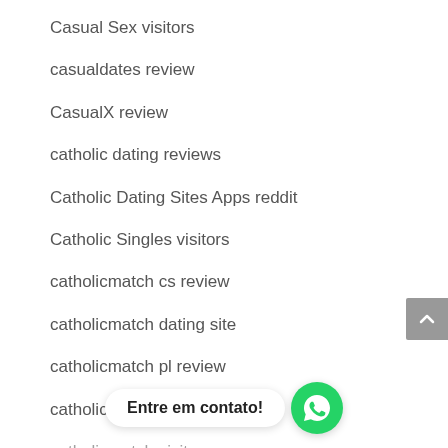Casual Sex visitors
casualdates review
CasualX review
catholic dating reviews
Catholic Dating Sites Apps reddit
Catholic Singles visitors
catholicmatch cs review
catholicmatch dating site
catholicmatch pl review
catholicmatch review
catholicmatch visitors
catholicsingles com vs catholicmatch click here
Entre em contato!